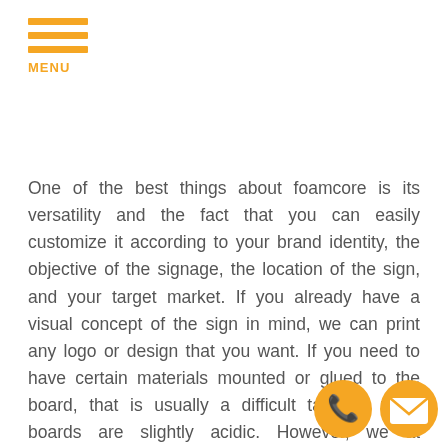MENU
One of the best things about foamcore is its versatility and the fact that you can easily customize it according to your brand identity, the objective of the signage, the location of the sign, and your target market. If you already have a visual concept of the sign in mind, we can print any logo or design that you want. If you need to have certain materials mounted or glued to the board, that is usually a difficult task as foam boards are slightly acidic. However, we at Cascade Signs and Graphics are equipped with the tools and experience to carry out the task while avoiding or minimizing the chance of chemical decomposition.
Our foam boards come in a wide range of thickness and